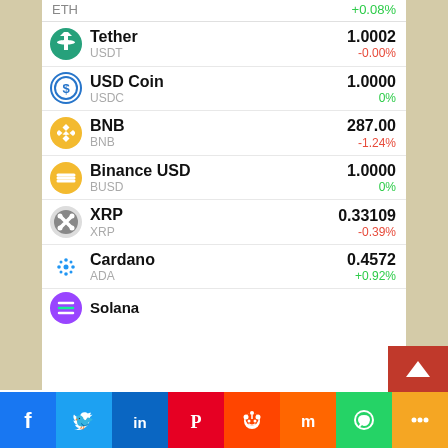ETH +0.08%
Tether USDT 1.0002 -0.00%
USD Coin USDC 1.0000 0%
BNB BNB 287.00 -1.24%
Binance USD BUSD 1.0000 0%
XRP XRP 0.33109 -0.39%
Cardano ADA 0.4572 +0.92%
Solana ...